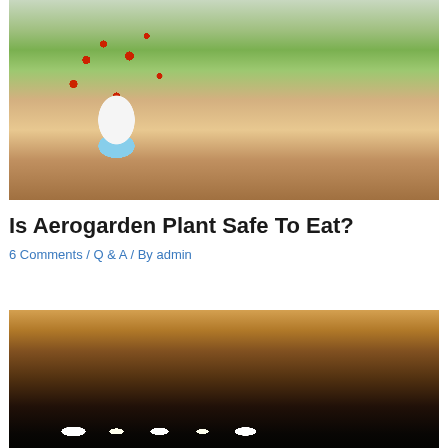[Figure (photo): Person in yellow shirt cutting a tomato on a cutting board, with an Aerogarden hydroponic device growing cherry tomatoes on the left]
Is Aerogarden Plant Safe To Eat?
6 Comments / Q & A / By admin
[Figure (photo): Close-up of an Aerogarden grow light panel with LED lights visible at the bottom, warm golden lighting]